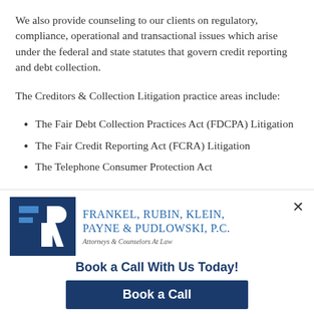We also provide counseling to our clients on regulatory, compliance, operational and transactional issues which arise under the federal and state statutes that govern credit reporting and debt collection.
The Creditors & Collection Litigation practice areas include:
The Fair Debt Collection Practices Act (FDCPA) Litigation
The Fair Credit Reporting Act (FCRA) Litigation
The Telephone Consumer Protection Act
[Figure (logo): Frankel, Rubin, Klein, Payne & Pudlowski, P.C. law firm advertisement banner with logo, firm name, tagline 'Attorneys & Counselors At Law', 'Book a Call With Us Today!' text, and a 'Book a Call' button.]